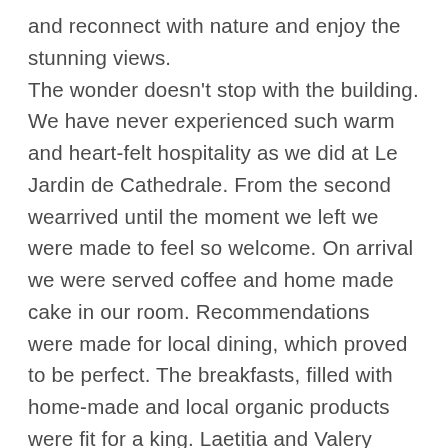and reconnect with nature and enjoy the stunning views.
The wonder doesn't stop with the building. We have never experienced such warm and heart-felt hospitality as we did at Le Jardin de Cathedrale. From the second wearrived until the moment we left we were made to feel so welcome. On arrival we were served coffee and home made cake in our room. Recommendations were made for local dining, which proved to be perfect. The breakfasts, filled with home-made and local organic products were fit for a king. Laetitia and Valery were the perfect hosts, we could not have felt more at home.
If you're looking for a generic hotel where all the rooms match and nothing is